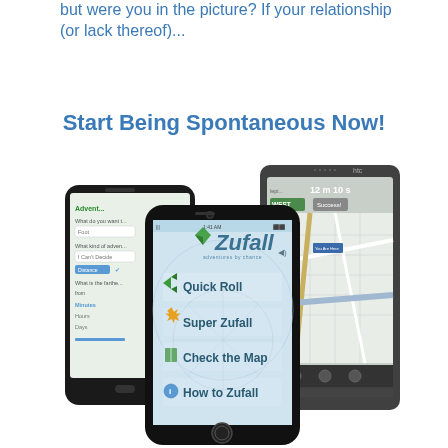but were you in the picture? If your relationship (or lack thereof)...
Start Being Spontaneous Now!
[Figure (photo): Three smartphones showing the Zufall app interface. The left device (black Android) shows an Adventure settings screen with options for Foot travel, I Can't Decide, Distance, Minutes, Hours, Days. The center device (iPhone) shows the main Zufall menu with options: Quick Roll, Super Zufall, Check the Map, How to Zufall, and the Zufall logo with tagline 'adventures by chance'. The right device (HTC Android) shows a navigation/map screen with '12 m 10 s', 'WEST', 'Success!' and a street map with 'You Are Here' marker.]